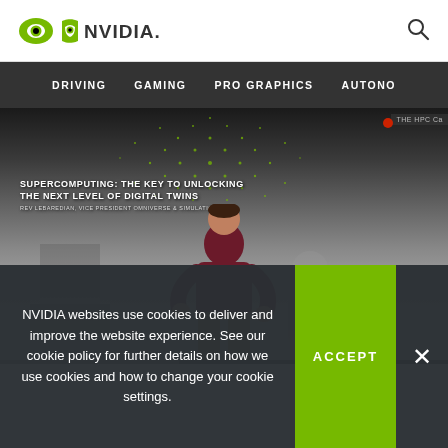NVIDIA
[Figure (screenshot): NVIDIA website navigation bar with logo and search icon. Nav items: DRIVING, GAMING, PRO GRAPHICS, AUTONO]
[Figure (photo): Video/screenshot of a conference presentation. Speaker in dark red sweater stands on stage. Slide behind reads: SUPERCOMPUTING: THE KEY TO UNLOCKING THE NEXT LEVEL OF DIGITAL TWINS. REV LEBAREDIAN, VICE PRESIDENT OMNIVERSE & SIMULATION...]
NVIDIA websites use cookies to deliver and improve the website experience. See our cookie policy for further details on how we use cookies and how to change your cookie settings.
ACCEPT